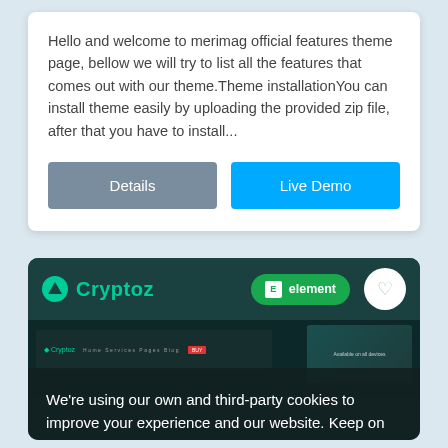Hello and welcome to merimag official features theme page, bellow we will try to list all the features that comes out with our theme.Theme installationYou can install theme easily by uploading the provided zip file, after that you have to install...
[Figure (screenshot): Two buttons side by side: grey 'Details' button and blue 'Live Demo' button]
[Figure (screenshot): Cryptoz theme preview card showing teal header with Cryptoz logo and Elementor badge, website screenshot preview, and cookie consent overlay with 'Accept' button]
We're using our own and third-party cookies to improve your experience and our website. Keep on browsing to accept our cookie policy.